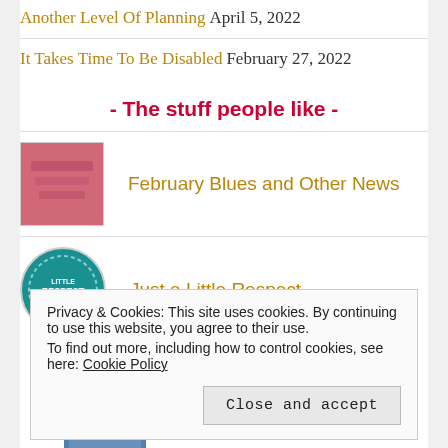Another Level Of Planning  April 5, 2022
It Takes Time To Be Disabled  February 27, 2022
- The stuff people like -
[Figure (photo): Thumbnail image for February Blues and Other News post - pink/salmon toned image]
February Blues and Other News
[Figure (logo): Circular teal badge thumbnail for Just a Little Respect post]
Just a Little Respect
Privacy & Cookies: This site uses cookies. By continuing to use this website, you agree to their use. To find out more, including how to control cookies, see here: Cookie Policy
Close and accept
[Figure (photo): Thumbnail image at bottom of page - blue toned]